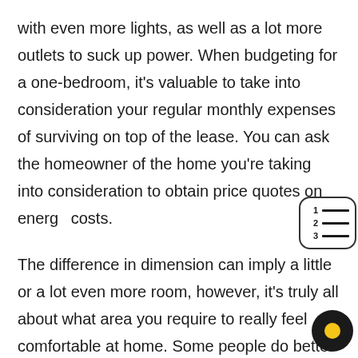with even more lights, as well as a lot more outlets to suck up power. When budgeting for a one-bedroom, it's valuable to take into consideration your regular monthly expenses of surviving on top of the lease. You can ask the homeowner of the home you're taking into consideration to obtain price quotes on energy costs.
The difference in dimension can imply a little or a lot even more room, however, it's truly all about what area you require to really feel comfortable at home. Some people do better in an extra cozy home, while others need